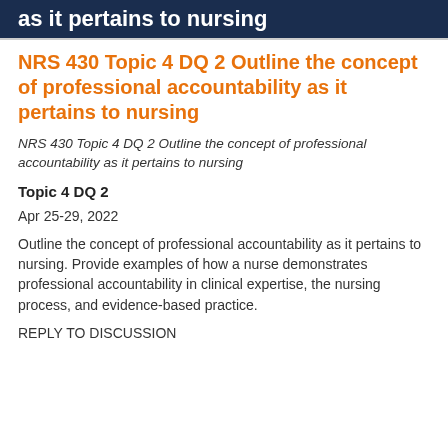as it pertains to nursing
NRS 430 Topic 4 DQ 2 Outline the concept of professional accountability as it pertains to nursing
NRS 430 Topic 4 DQ 2 Outline the concept of professional accountability as it pertains to nursing
Topic 4 DQ 2
Apr 25-29, 2022
Outline the concept of professional accountability as it pertains to nursing. Provide examples of how a nurse demonstrates professional accountability in clinical expertise, the nursing process, and evidence-based practice.
REPLY TO DISCUSSION